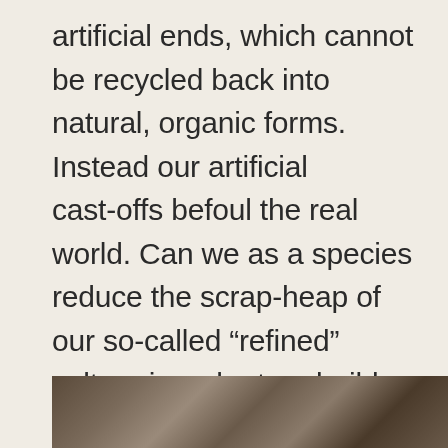artificial ends, which cannot be recycled back into natural, organic forms. Instead our artificial cast-offs befoul the real world. Can we as a species reduce the scrap-heap of our so-called “refined” culture in order to rebuild our life affirming connections to nature. This reconnecting to nature is one of the true joys of life.
[Figure (photo): Partial view of a textured natural surface, likely wood or stone, shown at the bottom of the page.]